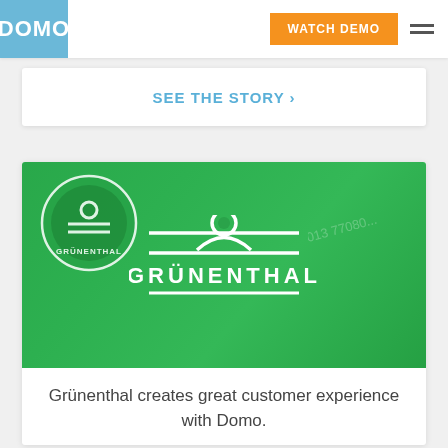DOMO
WATCH DEMO
SEE THE STORY ›
[Figure (logo): Grünenthal logo on green background with white Libra scale symbol above the company name GRÜNENTHAL in white bold text, with white horizontal lines above and below]
Grünenthal creates great customer experience with Domo.